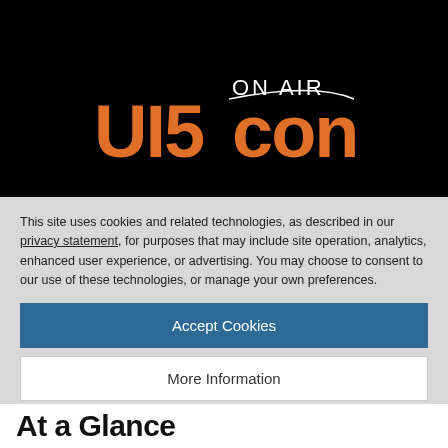[Figure (logo): UI5con ON AIR logo on black background — large orange text 'UI5con' with white 'ON AIR' above right]
This site uses cookies and related technologies, as described in our privacy statement, for purposes that may include site operation, analytics, enhanced user experience, or advertising. You may choose to consent to our use of these technologies, or manage your own preferences.
Accept Cookies
More Information
Privacy Policy | Powered by: TrustArc
At a Glance